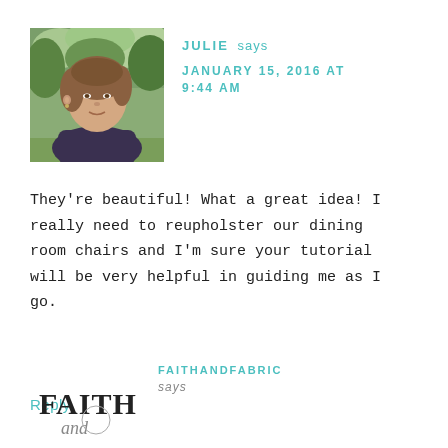[Figure (photo): Headshot photo of woman named Julie outdoors with green trees in background, shoulder-length brown hair, dark shirt]
JULIE says
JANUARY 15, 2016 AT 9:44 AM
They're beautiful! What a great idea! I really need to reupholster our dining room chairs and I'm sure your tutorial will be very helpful in guiding me as I go.
Reply
[Figure (logo): Faith and Fabric blog logo showing stylized text 'FAITH and' in serif/decorative font]
FAITHANDFABRIC says